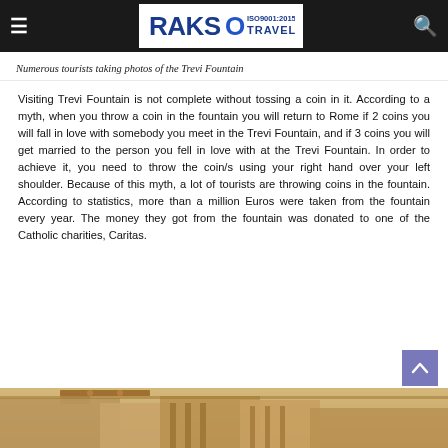RAKSO TRAVEL ISO9001:2015
Numerous tourists taking photos of the Trevi Fountain
Visiting Trevi Fountain is not complete without tossing a coin in it. According to a myth, when you throw a coin in the fountain you will return to Rome if 2 coins you will fall in love with somebody you meet in the Trevi Fountain, and if 3 coins you will get married to the person you fell in love with at the Trevi Fountain. In order to achieve it, you need to throw the coin/s using your right hand over your left shoulder. Because of this myth, a lot of tourists are throwing coins in the fountain. According to statistics, more than a million Euros were taken from the fountain every year. The money they got from the fountain was donated to one of the Catholic charities, Caritas.
[Figure (photo): Partial view of a grand building facade, likely the Trevi Fountain area]